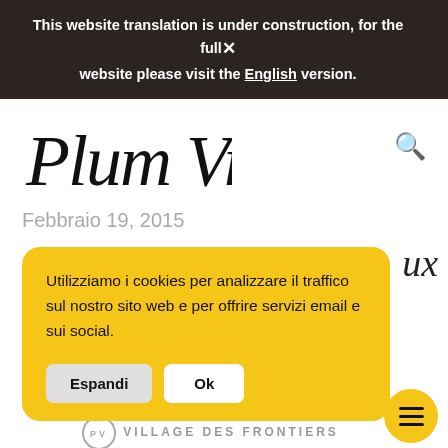This website translation is under construction, for the full website please visit the English version. ✕
[Figure (logo): Plum Village handwritten-style logo in black cursive script]
Febbraio 19, 2015
Utilizziamo i cookies per analizzare il traffico sul nostro sito web e per offrire servizi email e sui social.
Espandi  Ok
VILLAGE DES FRONTIERS